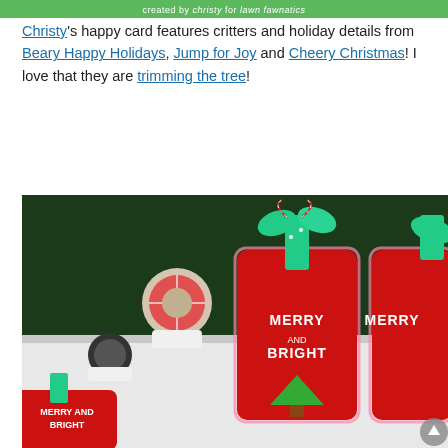[Figure (other): Green banner header with text 'created by christy for lawn fawnatics']
Christy's happy card features critters and holiday details from Beary Happy Holidays, Jump for Joy and Cheery Christmas! I love that they are trimming the tree!
[Figure (photo): Photo of Christmas gift tags reading 'MERRY AND BRIGHT' with red fabric texture, green polka dot ribbons, candy cane twine spools, and green Christmas tree decorations on a white surface with dark green foliage background]